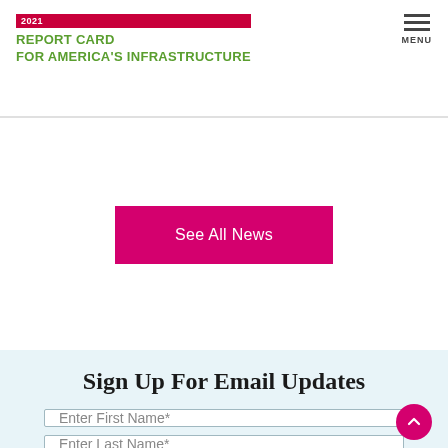2021 REPORT CARD FOR AMERICA'S INFRASTRUCTURE — MENU
See All News
Sign Up For Email Updates
Enter First Name*
Enter Last Name*